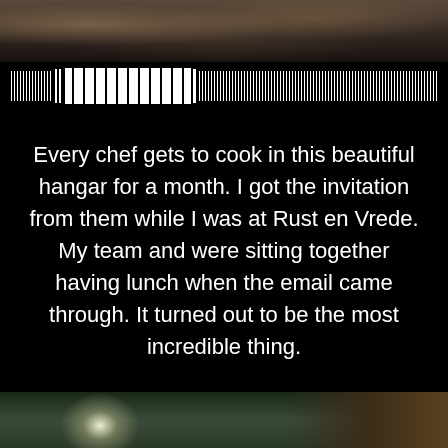[Figure (photo): Partial photo at top of page showing blurred crowd or interior scene]
[Figure (other): Barcode-like decorative strip with vertical bars of varying widths on black background]
Every chef gets to cook in this beautiful hangar for a month. I got the invitation from them while I was at Rust en Vrede. My team and were sitting together having lunch when the email came through. It turned out to be the most incredible thing.
[Figure (photo): Partial photo at bottom showing what appears to be a glass-roofed structure or hangar interior with bright light and architectural elements]